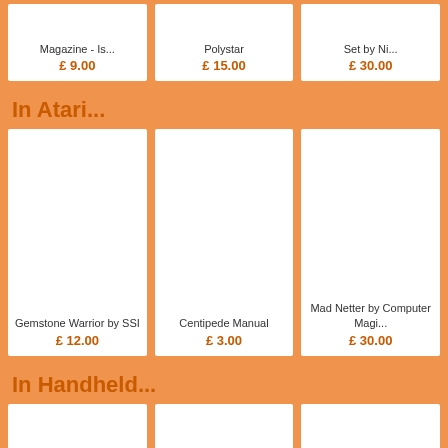[Figure (other): Product card: Magazine - Is... £9.00]
[Figure (other): Product card: Polystar £15.00]
[Figure (other): Product card: Set by Ni... £30.00]
In Atari...
[Figure (other): Product card: Gemstone Warrior by SSI £12.00]
[Figure (other): Product card: Centipede Manual £3.00]
[Figure (other): Product card: Mad Netter by Computer Magi... £30.00]
In Handheld...
[Figure (other): Product card (blank image)]
[Figure (other): Product card (blank image)]
[Figure (other): Product card (blank image)]